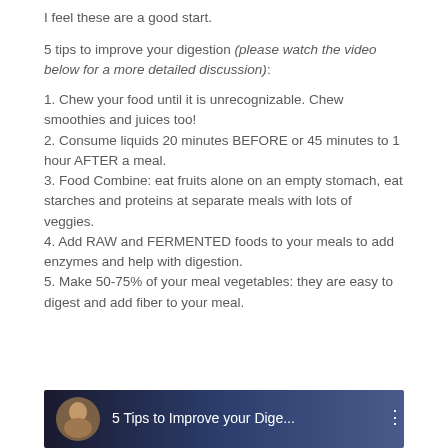I feel these are a good start.
5 tips to improve your digestion (please watch the video below for a more detailed discussion):
1. Chew your food until it is unrecognizable. Chew smoothies and juices too!
2. Consume liquids 20 minutes BEFORE or 45 minutes to 1 hour AFTER a meal.
3. Food Combine: eat fruits alone on an empty stomach, eat starches and proteins at separate meals with lots of veggies.
4. Add RAW and FERMENTED foods to your meals to add enzymes and help with digestion.
5. Make 50-75% of your meal vegetables: they are easy to digest and add fiber to your meal.
[Figure (screenshot): Video thumbnail showing a person and the title '5 Tips to Improve your Dige...' on a dark blue background]